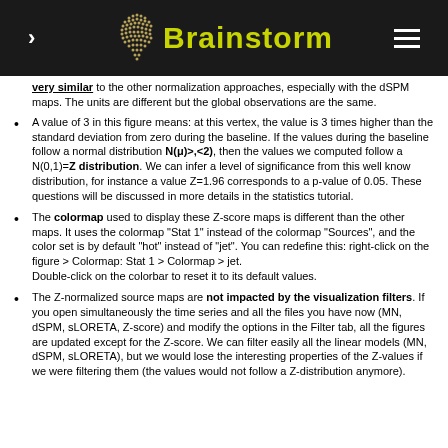Brainstorm
very similar to the other normalization approaches, especially with the dSPM maps. The units are different but the global observations are the same.
A value of 3 in this figure means: at this vertex, the value is 3 times higher than the standard deviation from zero during the baseline. If the values during the baseline follow a normal distribution N(μ)>,<2), then the values we computed follow a N(0,1)=Z distribution. We can infer a level of significance from this well know distribution, for instance a value Z=1.96 corresponds to a p-value of 0.05. These questions will be discussed in more details in the statistics tutorial.
The colormap used to display these Z-score maps is different than the other maps. It uses the colormap "Stat 1" instead of the colormap "Sources", and the color set is by default "hot" instead of "jet". You can redefine this: right-click on the figure > Colormap: Stat 1 > Colormap > jet.
Double-click on the colorbar to reset it to its default values.
The Z-normalized source maps are not impacted by the visualization filters. If you open simultaneously the time series and all the files you have now (MN, dSPM, sLORETA, Z-score) and modify the options in the Filter tab, all the figures are updated except for the Z-score. We can filter easily all the linear models (MN, dSPM, sLORETA), but we would lose the interesting properties of the Z-values if we were filtering them (the values would not follow a Z-distribution anymore).